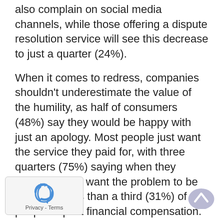also complain on social media channels, while those offering a dispute resolution service will see this decrease to just a quarter (24%).
When it comes to redress, companies shouldn't underestimate the value of the humility, as half of consumers (48%) say they would be happy with just an apology. Most people just want the service they paid for, with three quarters (75%) saying when they complain they want the problem to be put right. Less than a third (31%) of people expect financial compensation.
Commenting on the findings, chief Ombudsman Lewis Shand Smith said:“Last year, customer service was brought into the spotlight with the duction of a new EU directive and the updated mer Rights Act, giving great legal rights to consumers, but they are also choosing to vote with